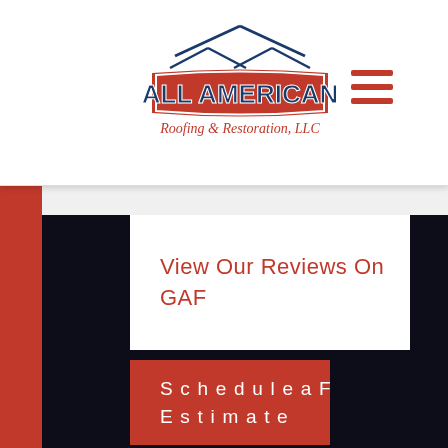[Figure (logo): All American Roofing & Restoration, LLC logo with red banner and house roof outline]
[Figure (other): Hamburger menu icon with three red horizontal lines]
View Our Reviews On GAF
Schedule a Free Estimate
[Figure (other): reCAPTCHA badge with Google logo, Privacy and Terms text]